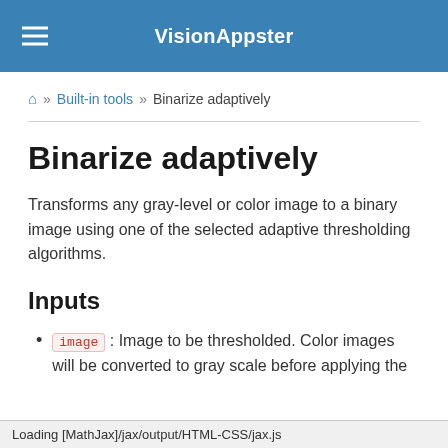VisionAppster
🏠 » Built-in tools » Binarize adaptively
Binarize adaptively
Transforms any gray-level or color image to a binary image using one of the selected adaptive thresholding algorithms.
Inputs
image : Image to be thresholded. Color images will be converted to gray scale before applying the
Loading [MathJax]/jax/output/HTML-CSS/jax.js